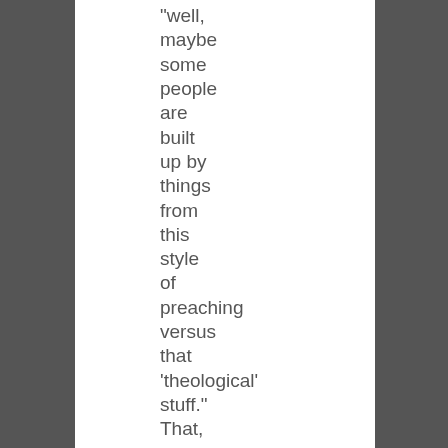“well, maybe some people are built up by things from this style of preaching versus that ‘theological’ stuff.” That, to me, falls in line